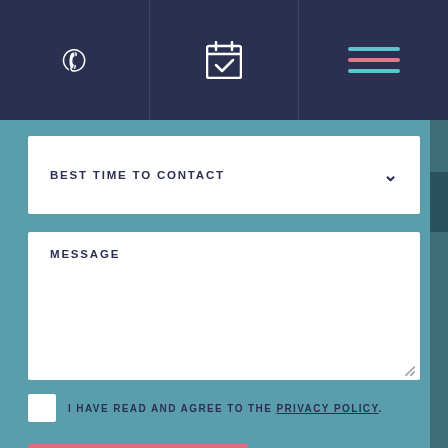[Figure (screenshot): Navigation bar with phone icon, calendar icon, and hamburger menu icon on dark navy background]
BEST TIME TO CONTACT
MESSAGE
I HAVE READ AND AGREE TO THE PRIVACY POLICY.
Submit →